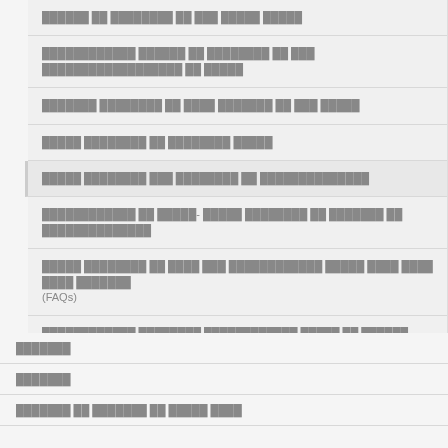██████ ██ ████████ ██ ███ █████ █████
████████████ ██████ ██ ████████ ██ ███ ██████████████████ ██ █████
███████ ████████ ██ ████ ███████ ██ ███ █████
█████ ████████ ██ ████████ █████
█████ ████████ ███ ████████ ██ ██████████████
████████████ ██ █████- █████ ████████ ██ ███████ ██ ██████████████
█████ ████████ ██ ████ ███ ████████████ █████ ████ ████ ████ ███████ (FAQs)
████████████ ████████ ████████████ █████ ██ ██████
███████
███████
███████ ██ ███████ ██ █████ ████